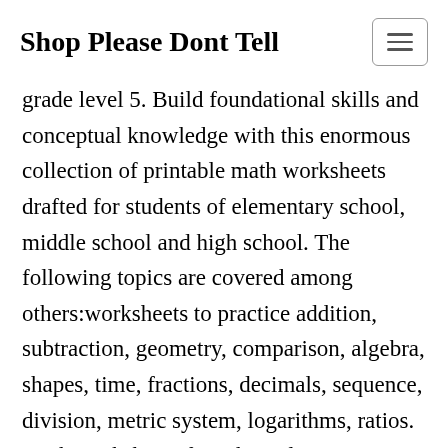Shop Please Dont Tell
grade level 5. Build foundational skills and conceptual knowledge with this enormous collection of printable math worksheets drafted for students of elementary school, middle school and high school. The following topics are covered among others:worksheets to practice addition, subtraction, geometry, comparison, algebra, shapes, time, fractions, decimals, sequence, division, metric system, logarithms, ratios. Math worksheets for 5th graders comprise